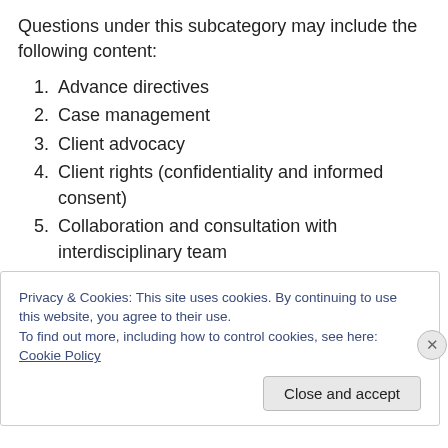Questions under this subcategory may include the following content:
1. Advance directives
2. Case management
3. Client advocacy
4. Client rights (confidentiality and informed consent)
5. Collaboration and consultation with interdisciplinary team
6. Continuity of care
7. Delegation, supervision, and management concepts
Privacy & Cookies: This site uses cookies. By continuing to use this website, you agree to their use.
To find out more, including how to control cookies, see here: Cookie Policy